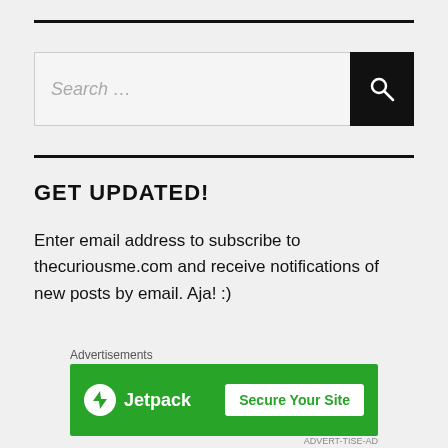[Figure (screenshot): Search bar with text 'Search ...' and a black magnifying glass button on the right]
GET UPDATED!
Enter email address to subscribe to thecuriousme.com and receive notifications of new posts by email. Aja! :)
[Figure (screenshot): Email input field with placeholder text 'Enter your email address']
Advertisements
[Figure (screenshot): Jetpack advertisement banner with 'Secure Your Site' button on green background]